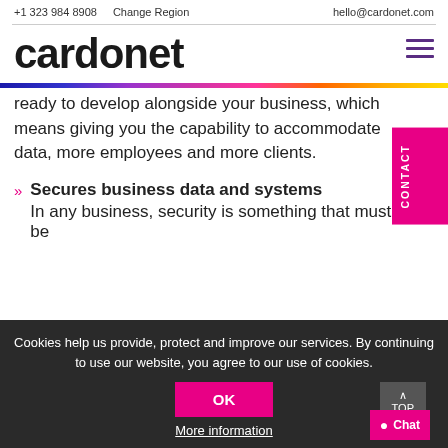+1 323 984 8908    Change Region    hello@cardonet.com
cardonet
ready to develop alongside your business, which means giving you the capability to accommodate data, more employees and more clients.
Secures business data and systems
In any business, security is something that must be
Cookies help us provide, protect and improve our services. By continuing to use our website, you agree to our use of cookies.